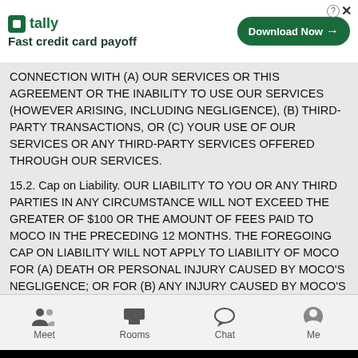[Figure (screenshot): Tally app advertisement banner: green logo, 'Fast credit card payoff' tagline, 'Download Now' button]
CONNECTION WITH (A) OUR SERVICES OR THIS AGREEMENT OR THE INABILITY TO USE OUR SERVICES (HOWEVER ARISING, INCLUDING NEGLIGENCE), (B) THIRD-PARTY TRANSACTIONS, OR (C) YOUR USE OF OUR SERVICES OR ANY THIRD-PARTY SERVICES OFFERED THROUGH OUR SERVICES.
15.2. Cap on Liability. OUR LIABILITY TO YOU OR ANY THIRD PARTIES IN ANY CIRCUMSTANCE WILL NOT EXCEED THE GREATER OF $100 OR THE AMOUNT OF FEES PAID TO MOCO IN THE PRECEDING 12 MONTHS. THE FOREGOING CAP ON LIABILITY WILL NOT APPLY TO LIABILITY OF MOCO FOR (A) DEATH OR PERSONAL INJURY CAUSED BY MOCO’S NEGLIGENCE; OR FOR (B) ANY INJURY CAUSED BY MOCO’S FRAUD OR FRAUDULENT MISREPRESENTATION.
15.3. User Content. EXCEPT FOR MOCO’S OBLIGATIONS TO PROTECT YOUR PERSONAL DATA AS SET FORTH IN THE MOCO’S PRIVACY POLICY, MOCO ASSUMES NO
[Figure (screenshot): Mobile app bottom navigation bar with Meet, Rooms, Chat, and Me icons]